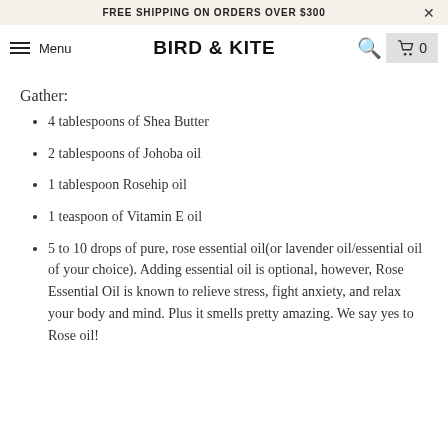FREE SHIPPING ON ORDERS OVER $300
BIRD & KITE  Menu  Search  Cart 0
Gather:
4 tablespoons of Shea Butter
2 tablespoons of Johoba oil
1 tablespoon Rosehip oil
1 teaspoon of Vitamin E oil
5 to 10 drops of pure, rose essential oil(or lavender oil/essential oil of your choice). Adding essential oil is optional, however, Rose Essential Oil is known to relieve stress, fight anxiety, and relax your body and mind. Plus it smells pretty amazing. We say yes to Rose oil!